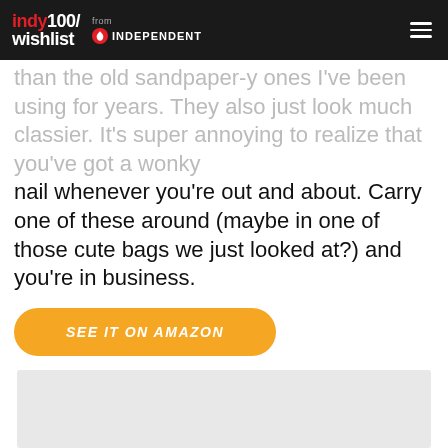indy100/wishlist from INDEPENDENT
than the old sandpaper-y ones I've been using for years. They also just look much classier. It's super annoying to realize that you've got a wonky nail whenever you're out and about. Carry one of these around (maybe in one of those cute bags we just looked at?) and you're in business.
SEE IT ON AMAZON
[Figure (photo): Light gray image placeholder area at the bottom of the page]